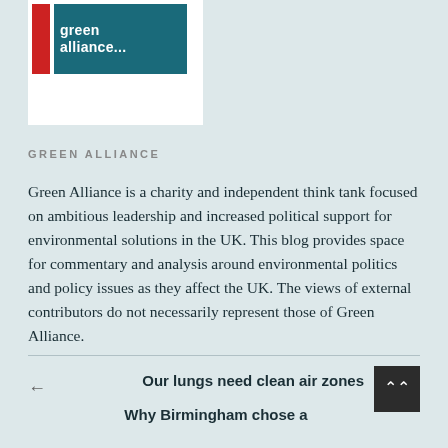[Figure (logo): Green Alliance logo — red bar on left, teal background with white text reading 'green alliance...' in bold]
GREEN ALLIANCE
Green Alliance is a charity and independent think tank focused on ambitious leadership and increased political support for environmental solutions in the UK. This blog provides space for commentary and analysis around environmental politics and policy issues as they affect the UK. The views of external contributors do not necessarily represent those of Green Alliance.
Our lungs need clean air zones
Why Birmingham chose a